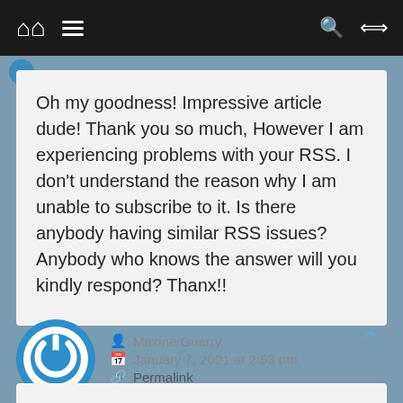Navigation bar with home, menu, search, and shuffle icons
Oh my goodness! Impressive article dude! Thank you so much, However I am experiencing problems with your RSS. I don’t understand the reason why I am unable to subscribe to it. Is there anybody having similar RSS issues? Anybody who knows the answer will you kindly respond? Thanx!!
Maxine Guerry
January 7, 2021 at 2:53 pm
Permalink